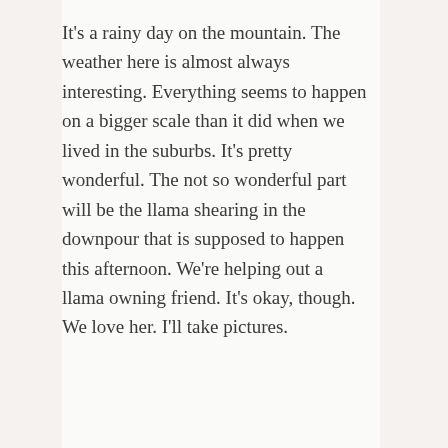It's a rainy day on the mountain. The weather here is almost always interesting. Everything seems to happen on a bigger scale than it did when we lived in the suburbs. It's pretty wonderful. The not so wonderful part will be the llama shearing in the downpour that is supposed to happen this afternoon. We're helping out a llama owning friend. It's okay, though. We love her. I'll take pictures.